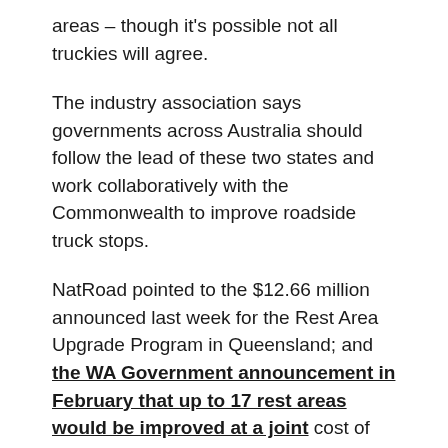areas – though it's possible not all truckies will agree.
The industry association says governments across Australia should follow the lead of these two states and work collaboratively with the Commonwealth to improve roadside truck stops.
NatRoad pointed to the $12.66 million announced last week for the Rest Area Upgrade Program in Queensland; and the WA Government announcement in February that up to 17 rest areas would be improved at a joint cost of $14m – both jointly funded initiatives at the state and federal level.
NatRoad CEO Warren Clark said the announcements showed the value in a joint-government approach with a